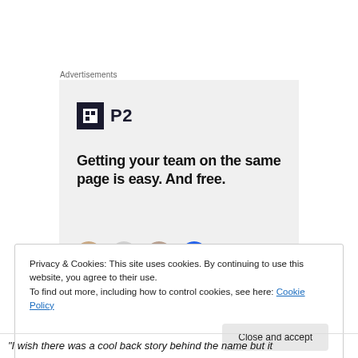Advertisements
[Figure (other): Advertisement for P2 product: logo with dark square icon and 'P2' text, headline reading 'Getting your team on the same page is easy. And free.' with avatar photos at the bottom.]
Privacy & Cookies: This site uses cookies. By continuing to use this website, you agree to their use.
To find out more, including how to control cookies, see here: Cookie Policy
“I wish there was a cool back story behind the name but it